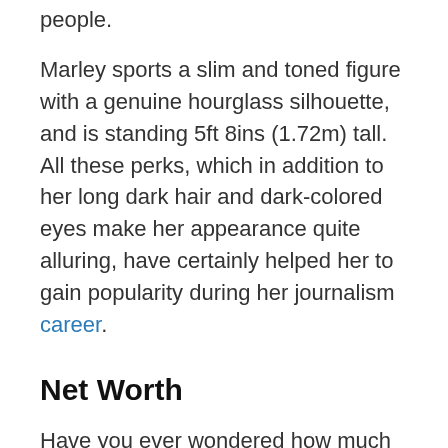people.
Marley sports a slim and toned figure with a genuine hourglass silhouette, and is standing 5ft 8ins (1.72m) tall. All these perks, which in addition to her long dark hair and dark-colored eyes make her appearance quite alluring, have certainly helped her to gain popularity during her journalism career.
Net Worth
Have you ever wondered how much wealth this popular American journalist has